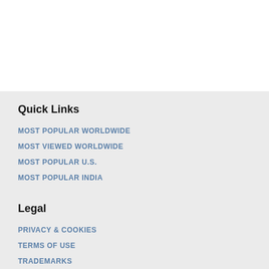Quick Links
MOST POPULAR WORLDWIDE
MOST VIEWED WORLDWIDE
MOST POPULAR U.S.
MOST POPULAR INDIA
Legal
PRIVACY & COOKIES
TERMS OF USE
TRADEMARKS